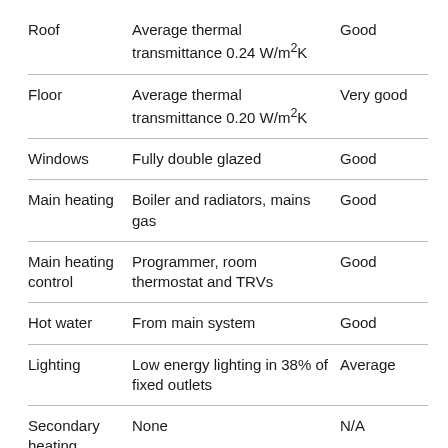|  |  |  |
| --- | --- | --- |
| Roof | Average thermal transmittance 0.24 W/m²K | Good |
| Floor | Average thermal transmittance 0.20 W/m²K | Very good |
| Windows | Fully double glazed | Good |
| Main heating | Boiler and radiators, mains gas | Good |
| Main heating control | Programmer, room thermostat and TRVs | Good |
| Hot water | From main system | Good |
| Lighting | Low energy lighting in 38% of fixed outlets | Average |
| Secondary heating | None | N/A |